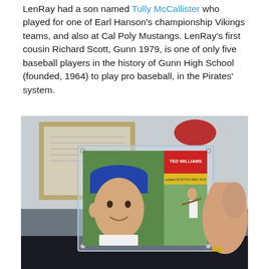LenRay had a son named Tully McCallister who played for one of Earl Hanson's championship Vikings teams, and also at Cal Poly Mustangs. LenRay's first cousin Richard Scott, Gunn 1979, is one of only five baseball players in the history of Gunn High School (founded, 1964) to play pro baseball, in the Pirates' system.
[Figure (photo): A hand holding a vintage baseball card in a plastic case. The card shows Ted Williams of the Boston Red Sox, with his portrait on the left and a batting action image on the right. The background shows a framed picture on a wall and a red object.]